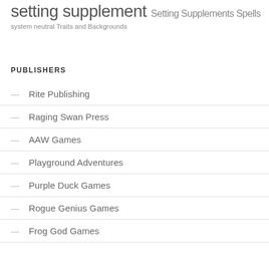setting supplement Setting Supplements Spells
system neutral Traits and Backgrounds
PUBLISHERS
Rite Publishing
Raging Swan Press
AAW Games
Playground Adventures
Purple Duck Games
Rogue Genius Games
Frog God Games